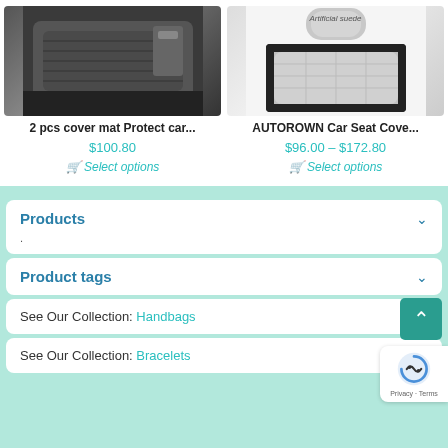[Figure (photo): Car seat with dark quilted cover installed in vehicle interior]
[Figure (photo): Light grey artificial suede car seat cover product image with label 'Artificial suede']
2 pcs cover mat Protect car...
AUTOROWN Car Seat Cove...
$100.80
$96.00 – $172.80
Select options
Select options
Products
.
Product tags
See Our Collection: Handbags
See Our Collection: Bracelets